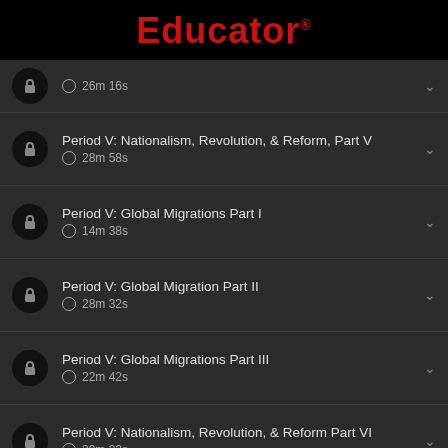Educator
⏱26m 16s
Period V: Nationalism, Revolution, & Reform, Part V
⏱28m 58s
Period V: Global Migrations Part I
⏱14m 38s
Period V: Global Migration Part II
⏱28m 32s
Period V: Global Migrations Part III
⏱22m 42s
Period V: Nationalism, Revolution, & Reform Part VI
⏱39m 32s
Period V: Indentured Servitude, Part I
⏱45m 30s
Section 0: